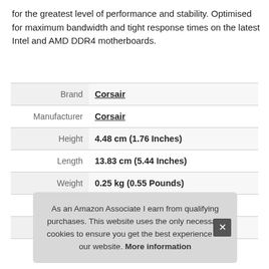for the greatest level of performance and stability. Optimised for maximum bandwidth and tight response times on the latest Intel and AMD DDR4 motherboards.
|  |  |
| --- | --- |
| Brand | Corsair |
| Manufacturer | Corsair |
| Height | 4.48 cm (1.76 Inches) |
| Length | 13.83 cm (5.44 Inches) |
| Weight | 0.25 kg (0.55 Pounds) |
| Width | 0.75 cm (0.3 Inches) |
| P |  |
As an Amazon Associate I earn from qualifying purchases. This website uses the only necessary cookies to ensure you get the best experience on our website. More information